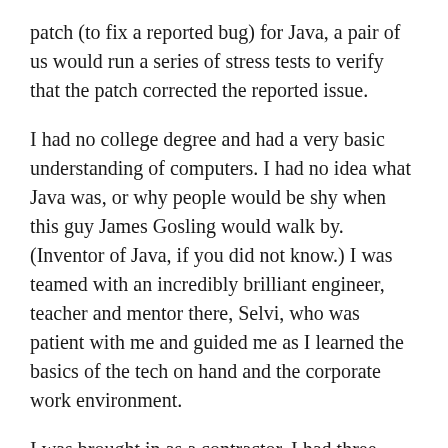patch (to fix a reported bug) for Java, a pair of us would run a series of stress tests to verify that the patch corrected the reported issue.
I had no college degree and had a very basic understanding of computers. I had no idea what Java was, or why people would be shy when this guy James Gosling would walk by. (Inventor of Java, if you did not know.) I was teamed with an incredibly brilliant engineer, teacher and mentor there, Selvi, who was patient with me and guided me as I learned the basics of the tech on hand and the corporate work environment.
I was brought in as a contractor. I had three months to prove myself. If I did well, I would be converted to an employee. If Pat was wrong about his gut feeling about me, I would be let go. I had three months to learn everything that I could about Java, Sun Microsystems,